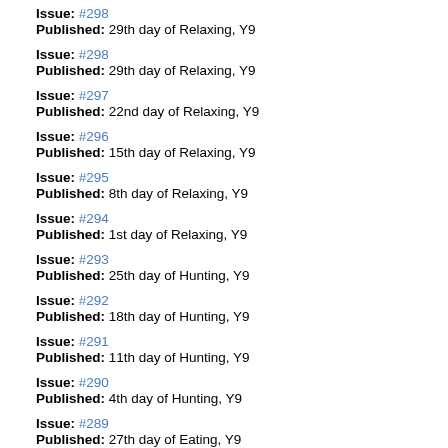Issue: #298
Published: 29th day of Relaxing, Y9
Issue: #297
Published: 22nd day of Relaxing, Y9
Issue: #296
Published: 15th day of Relaxing, Y9
Issue: #295
Published: 8th day of Relaxing, Y9
Issue: #294
Published: 1st day of Relaxing, Y9
Issue: #293
Published: 25th day of Hunting, Y9
Issue: #292
Published: 18th day of Hunting, Y9
Issue: #291
Published: 11th day of Hunting, Y9
Issue: #290
Published: 4th day of Hunting, Y9
Issue: #289
Published: 27th day of Eating, Y9
Issue: #288
Published: 20th day of Eating, Y9
Issue: #287
Published: 13th day of Eating, Y9